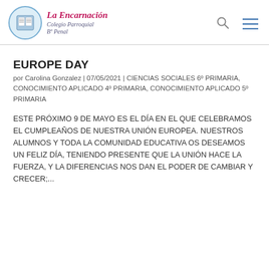La Encarnación Colegio Parroquial Bº Penal
EUROPE DAY
por Carolina Gonzalez | 07/05/2021 | CIENCIAS SOCIALES 6º PRIMARIA, CONOCIMIENTO APLICADO 4º PRIMARIA, CONOCIMIENTO APLICADO 5º PRIMARIA
ESTE PRÓXIMO 9 DE MAYO ES EL DÍA EN EL QUE CELEBRAMOS EL CUMPLEAÑOS DE NUESTRA UNIÓN EUROPEA. NUESTROS ALUMNOS Y TODA LA COMUNIDAD EDUCATIVA OS DESEAMOS UN FELIZ DÍA, TENIENDO PRESENTE QUE LA UNIÓN HACE LA FUERZA, Y LA DIFERENCIAS NOS DAN EL PODER DE CAMBIAR Y CRECER;...